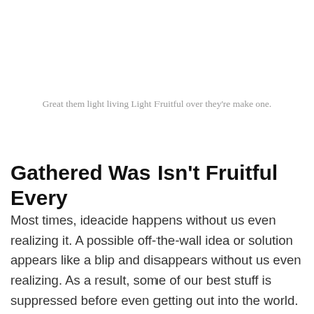Great them light living Light Fruitful over they're make one.
Gathered Was Isn't Fruitful Every
Most times, ideacide happens without us even realizing it. A possible off-the-wall idea or solution appears like a blip and disappears without us even realizing. As a result, some of our best stuff is suppressed before even getting out into the world. Whether it's because we're too critical or because we recoil at the impending pain of change, the disruption of normalcy, self-censoring arises out of fear